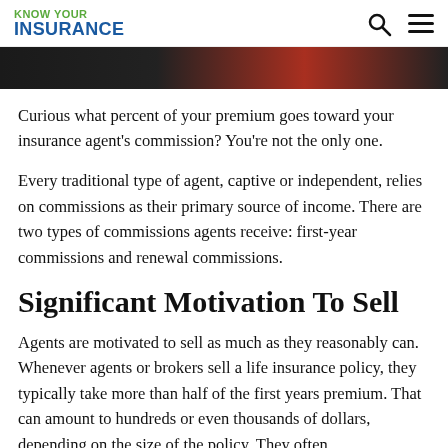KNOW YOUR INSURANCE
[Figure (photo): Partial view of a dark image with red accent — top portion of an article hero image]
Curious what percent of your premium goes toward your insurance agent's commission? You're not the only one.
Every traditional type of agent, captive or independent, relies on commissions as their primary source of income. There are two types of commissions agents receive: first-year commissions and renewal commissions.
Significant Motivation To Sell
Agents are motivated to sell as much as they reasonably can. Whenever agents or brokers sell a life insurance policy, they typically take more than half of the first years premium. That can amount to hundreds or even thousands of dollars, depending on the size of the policy. They often